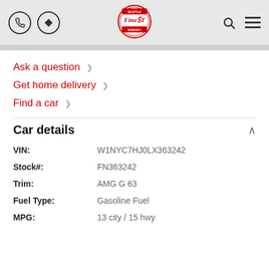Seattle Finest Nobody — navigation header with phone, directions, logo, search, and menu icons
Ask a question >
Get home delivery >
Find a car >
Car details
| Field | Value |
| --- | --- |
| VIN: | W1NYC7HJ0LX363242 |
| Stock#: | FN363242 |
| Trim: | AMG G 63 |
| Fuel Type: | Gasoline Fuel |
| MPG: | 13 city / 15 hwy |